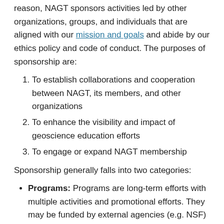reason, NAGT sponsors activities led by other organizations, groups, and individuals that are aligned with our mission and goals and abide by our ethics policy and code of conduct. The purposes of sponsorship are:
To establish collaborations and cooperation between NAGT, its members, and other organizations
To enhance the visibility and impact of geoscience education efforts
To engage or expand NAGT membership
Sponsorship generally falls into two categories:
Programs: Programs are long-term efforts with multiple activities and promotional efforts. They may be funded by external agencies (e.g. NSF) or